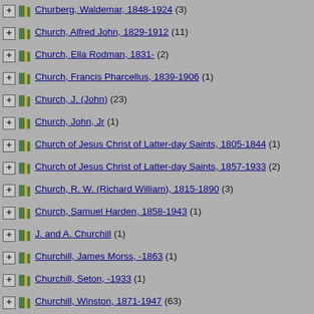Churberg, Waldemar, 1848-1924 (3)
Church, Alfred John, 1829-1912 (11)
Church, Ella Rodman, 1831- (2)
Church, Francis Pharcellus, 1839-1906 (1)
Church, J. (John) (23)
Church, John, Jr (1)
Church of Jesus Christ of Latter-day Saints, 1805-1844 (1)
Church of Jesus Christ of Latter-day Saints, 1857-1933 (2)
Church, R. W. (Richard William), 1815-1890 (3)
Church, Samuel Harden, 1858-1943 (1)
J. and A. Churchill (1)
Churchill, James Morss, -1863 (1)
Churchill, Seton, -1933 (1)
Churchill, Winston, 1871-1947 (63)
Churchill, Winston, 1874-1965 (10)
Chédieu de Robethon, Émile, 1814-1826 (1)